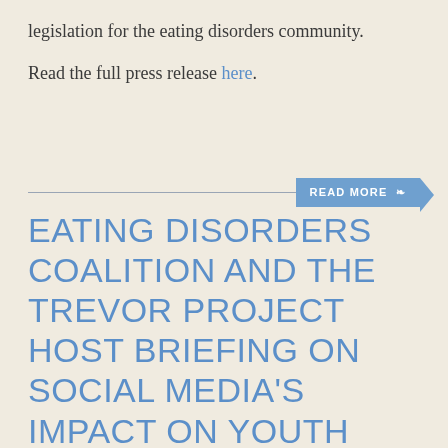legislation for the eating disorders community.
Read the full press release here.
READ MORE
EATING DISORDERS COALITION AND THE TREVOR PROJECT HOST BRIEFING ON SOCIAL MEDIA'S IMPACT ON YOUTH AND EATING DISORDERS IN COMMUNITIES OF